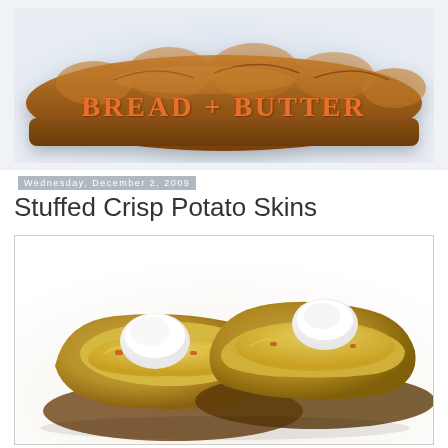[Figure (logo): Bread + Butter blog header logo: text 'BREAD + BUTTER' embossed on a rustic baguette loaf against a light blue-grey background]
Wednesday, December 2, 2009
Stuffed Crisp Potato Skins
[Figure (photo): Close-up photo of two stuffed baked potato skins topped with melted cheese and dollops of sour cream, on a white background]